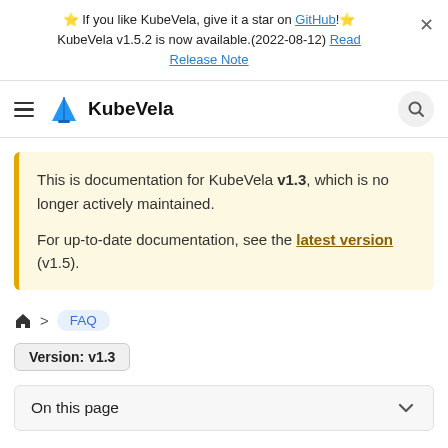⭐ If you like KubeVela, give it a star on GitHub!⭐ KubeVela v1.5.2 is now available.(2022-08-12) Read Release Note
KubeVela (navigation bar)
This is documentation for KubeVela v1.3, which is no longer actively maintained.

For up-to-date documentation, see the latest version (v1.5).
🏠 > FAQ
Version: v1.3
On this page